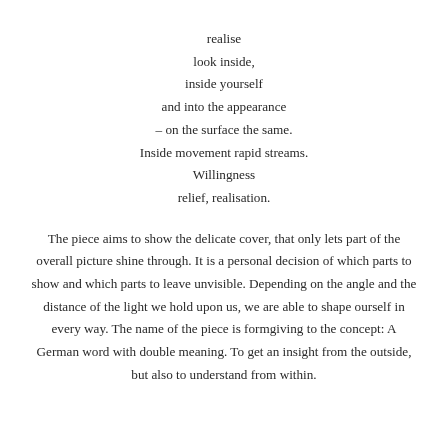realise
look inside,
inside yourself
and into the appearance
– on the surface the same.
Inside movement rapid streams.
Willingness
relief, realisation.
The piece aims to show the delicate cover, that only lets part of the overall picture shine through. It is a personal decision of which parts to show and which parts to leave unvisible. Depending on the angle and the distance of the light we hold upon us, we are able to shape ourself in every way. The name of the piece is formgiving to the concept: A German word with double meaning. To get an insight from the outside, but also to understand from within.